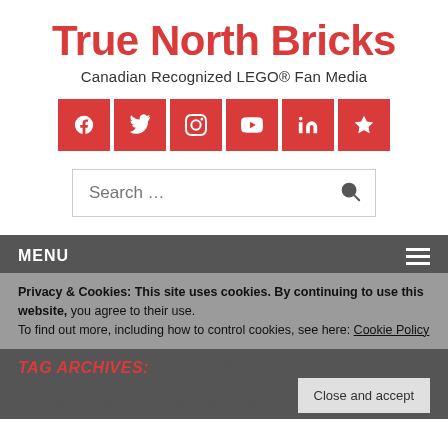True North Bricks
Canadian Recognized LEGO® Fan Media
[Figure (infographic): Social media icon buttons (Facebook, Twitter, Instagram, YouTube, LinkedIn, Star/Favorites) in red squares]
Search …
MENU
Privacy & Cookies: This site uses cookies. By continuing to use this website, you agree to their use.
To find out more, including how to control cookies, see here: Cookie Policy
TAG ARCHIVES: PYRORAPTOR AND DILOPHOSAURUS TRANSPORT
Close and accept